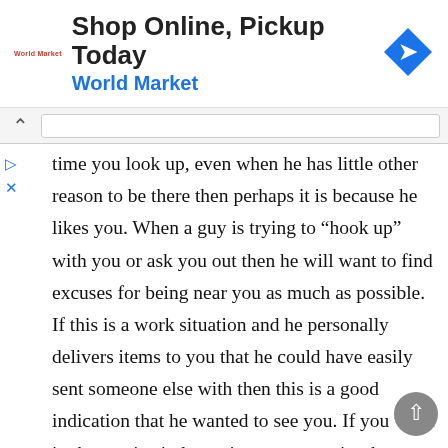[Figure (screenshot): Advertisement banner for World Market: 'Shop Online, Pickup Today' with World Market logo and a blue diamond direction sign icon]
time you look up, even when he has little other reason to be there then perhaps it is because he likes you. When a guy is trying to “hook up” with you or ask you out then he will want to find excuses for being near you as much as possible. If this is a work situation and he personally delivers items to you that he could have easily sent someone else with then this is a good indication that he wanted to see you. If you work in the service industry in some capacity then you may notice that he frequents your job often and